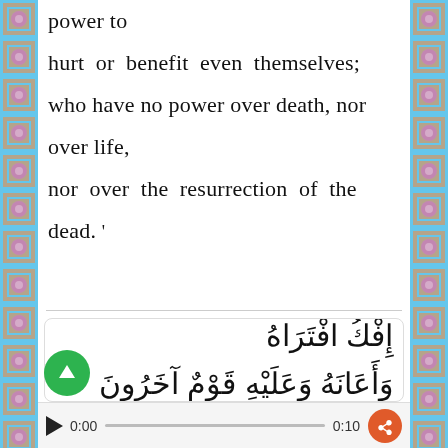power to

hurt or benefit even themselves;

who have no power over death, nor

over life,

nor over the resurrection of the

dead. '
[Figure (other): Arabic Quranic text in decorative rounded box: وَقَالَ الَّذِينَ كَفَرُوا إِن هَذَا إِلَّا إِفْكُ افْتَرَاهُ وَأَعَانَهُ عَلَيْهِ قَوْمٌ آخَرُونَ فَقَدْ جَاءُو ظُلْمًا وَزُ]
[Figure (other): Audio player bar with play button, 0:00 timestamp, progress bar, 0:10 end time, and share button]